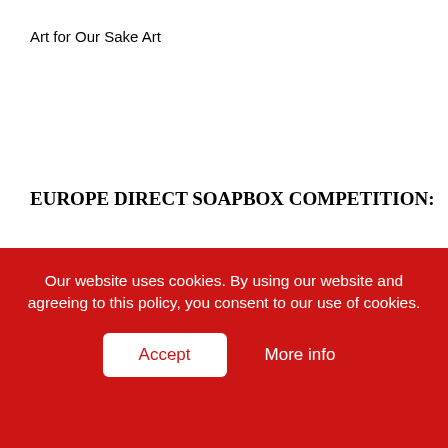Art for Our Sake Art
EUROPE DIRECT SOAPBOX COMPETITION:
Congratulations to Claire O'Brien who received an IPad for winning the 19 and over Europe Direct Soapbox competition in Mountmellick Library last Wednesday. The under 19 competition will be on Wednesday 25th October at 6pm in Mountmellick Library Galle
Our website uses cookies. By using our website and agreeing to this policy, you consent to our use of cookies.